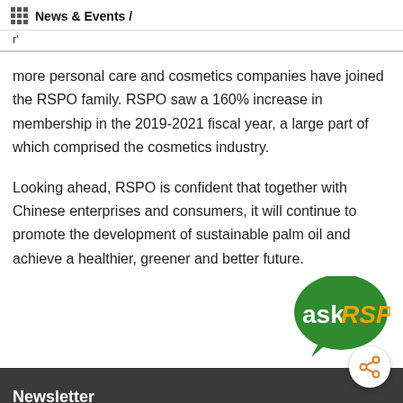News & Events /
r'
more personal care and cosmetics companies have joined the RSPO family. RSPO saw a 160% increase in membership in the 2019-2021 fiscal year, a large part of which comprised the cosmetics industry.
Looking ahead, RSPO is confident that together with Chinese enterprises and consumers, it will continue to promote the development of sustainable palm oil and achieve a healthier, greener and better future.
[Figure (logo): askRSPO speech bubble logo — green circle with 'ask' in white and 'RSPO' in orange italic, with a speech bubble tail]
[Figure (other): White circular share button with orange share/network icon]
Newsletter
Subscribe to our newsletter for more information about...